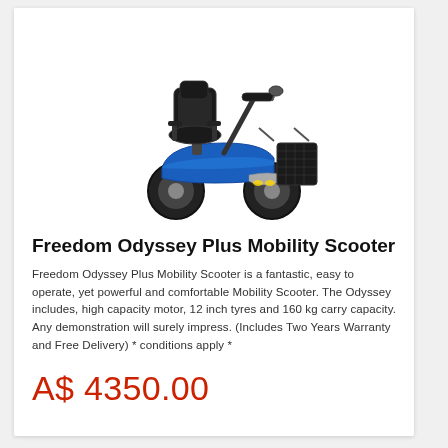[Figure (photo): Blue Freedom Odyssey Plus Mobility Scooter with black seat, four large wheels, front basket, and handlebar with mirror]
Freedom Odyssey Plus Mobility Scooter
Freedom Odyssey Plus Mobility Scooter is a fantastic, easy to operate, yet powerful and comfortable Mobility Scooter. The Odyssey includes, high capacity motor, 12 inch tyres and 160 kg carry capacity. Any demonstration will surely impress. (Includes Two Years Warranty and Free Delivery) * conditions apply *
A$ 4350.00